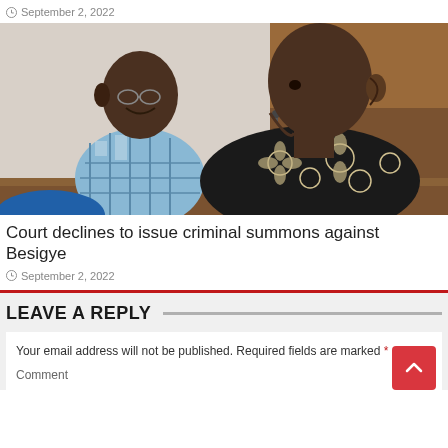September 2, 2022
[Figure (photo): Two men seated side by side, one wearing a blue plaid shirt and the other wearing a black floral patterned shirt, appearing to be in a courtroom or official setting with wooden furniture in the background.]
Court declines to issue criminal summons against Besigye
September 2, 2022
LEAVE A REPLY
Your email address will not be published. Required fields are marked *
Comment